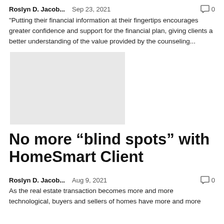Roslyn D. Jacob...   Sep 23, 2021   💬 0
"Putting their financial information at their fingertips encourages greater confidence and support for the financial plan, giving clients a better understanding of the value provided by the counseling...
[Figure (photo): Light gray placeholder image rectangle]
No more “blind spots” with HomeSmart Client
Roslyn D. Jacob...   Aug 9, 2021   💬 0
As the real estate transaction becomes more and more technological, buyers and sellers of homes have more and more